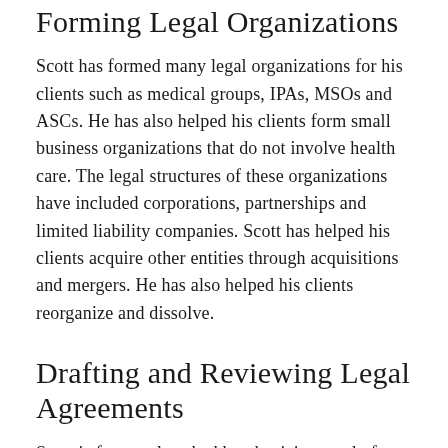Forming Legal Organizations
Scott has formed many legal organizations for his clients such as medical groups, IPAs, MSOs and ASCs. He has also helped his clients form small business organizations that do not involve health care. The legal structures of these organizations have included corporations, partnerships and limited liability companies. Scott has helped his clients acquire other entities through acquisitions and mergers. He has also helped his clients reorganize and dissolve.
Drafting and Reviewing Legal Agreements
Scott is frequently asked by physicians to draft and review legal agreements. For medical groups, such agreements include employment agreements,